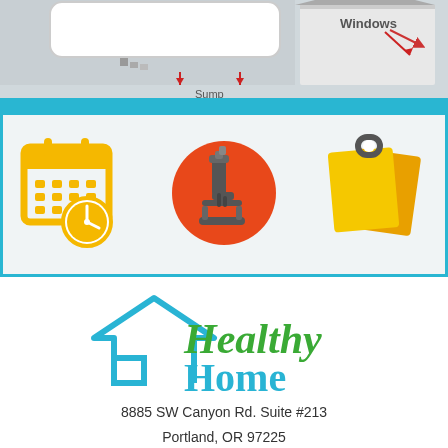[Figure (illustration): Top portion showing a house diagram with 'Windows' label and 'Sump' text visible, with red arrows indicating airflow or water entry points. Teal/cyan horizontal band at bottom of image.]
[Figure (infographic): Three icons on a light gray background with teal border: a yellow calendar/schedule icon with clock, an orange circle with white microscope icon, and a yellow sticky note/clipboard icon.]
[Figure (logo): Healthy Home logo: blue house outline with green scripted 'Healthy' text and teal 'Home' text below.]
8885 SW Canyon Rd. Suite #213
Portland, OR 97225
CCB# 211715